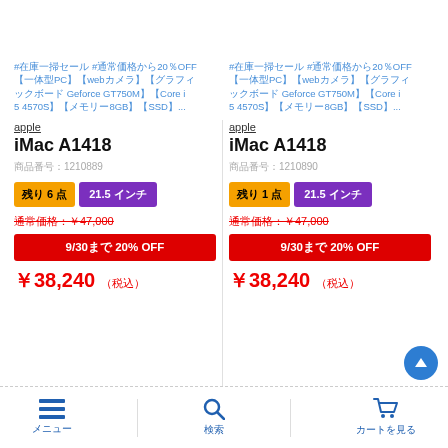#在庫一掃セール #通常価格から20％OFF【一体型PC】【webカメラ】【グラフィックボード Geforce GT750M】【Core i5 4570S】【メモリー8GB】【SSD】...
apple
iMac A1418
商品番号：1210889
残り6点  21.5インチ
通常価格：¥47,000
9/30まで 20% OFF
¥38,240（税込）
#在庫一掃セール #通常価格から20％OFF【一体型PC】【webカメラ】【グラフィックボード Geforce GT750M】【Core i5 4570S】【メモリー8GB】【SSD】...
apple
iMac A1418
商品番号：1210890
残り1点  21.5インチ
通常価格：¥47,000
9/30まで 20% OFF
¥38,240（税込）
メニュー  検索  カートを見る